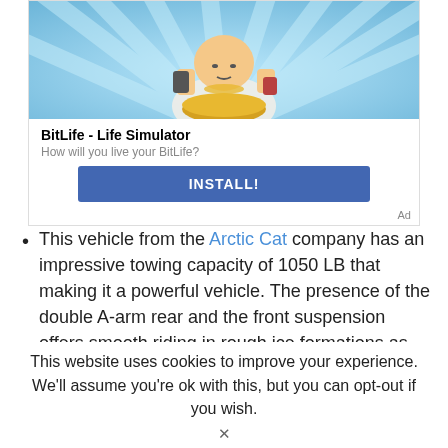[Figure (illustration): Advertisement for BitLife - Life Simulator app. Shows a cartoon monk/buddha character holding a phone and coffee cup, sitting on a golden base, with blue radial light background.]
BitLife - Life Simulator
How will you live your BitLife?
INSTALL!
Ad
This vehicle from the Arctic Cat company has an impressive towing capacity of 1050 LB that making it a powerful vehicle. The presence of the double A-arm rear and the front suspension offers smooth riding in rough ice formations as well. The adjustable
This website uses cookies to improve your experience. We'll assume you're ok with this, but you can opt-out if you wish.